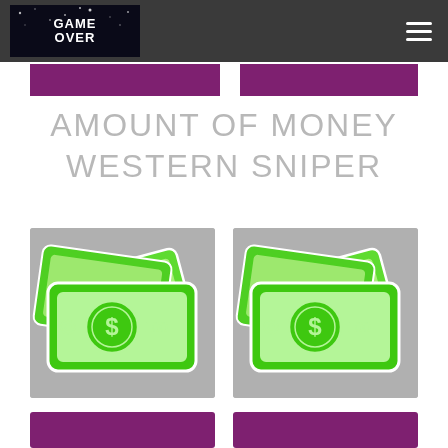GAME OVER
AMOUNT OF MONEY WESTERN SNIPER
[Figure (illustration): Green cartoon money/cash bundle icon with dollar sign and 100 label on grey background]
[Figure (illustration): Green cartoon money/cash bundle icon with dollar sign and 100 label on grey background]